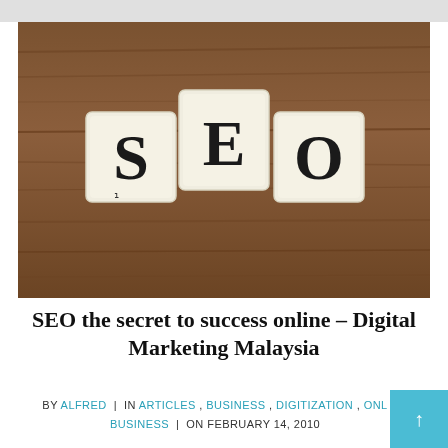[Figure (photo): Three Scrabble tiles spelling SEO on a wooden surface background]
SEO the secret to success online – Digital Marketing Malaysia
BY ALFRED  |  IN ARTICLES , BUSINESS , DIGITIZATION , ONLINE BUSINESS  |  ON FEBRUARY 14, 2010